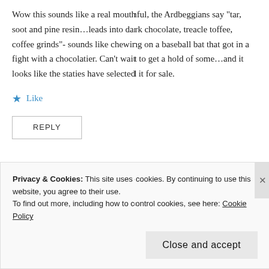Wow this sounds like a real mouthful, the Ardbeggians say "tar, soot and pine resin…leads into dark chocolate, treacle toffee, coffee grinds"- sounds like chewing on a baseball bat that got in a fight with a chocolatier. Can't wait to get a hold of some…and it looks like the staties have selected it for sale.
★ Like
REPLY
[Figure (photo): Red background advertisement showing a smartphone-like device with dark screen and controls]
Privacy & Cookies: This site uses cookies. By continuing to use this website, you agree to their use.
To find out more, including how to control cookies, see here: Cookie Policy
Close and accept